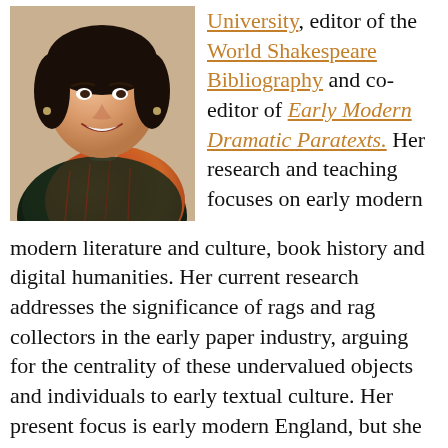[Figure (photo): Portrait photo of a smiling woman with dark hair, wearing an orange/red patterned scarf and dark top, light background]
University, editor of the World Shakespeare Bibliography and co-editor of Early Modern Dramatic Paratexts. Her research and teaching focuses on early modern literature and culture, book history and digital humanities. Her current research addresses the significance of rags and rag collectors in the early paper industry, arguing for the centrality of these undervalued objects and individuals to early textual culture. Her present focus is early modern England, but she intends to pursue a transnational and transhistorical investigation of the practice of rag collection. Craig has published pieces on rags and rag pickers in Literary Compass and in Valerie Wayne's recent edited collection, Women's Labour and the History of the Book